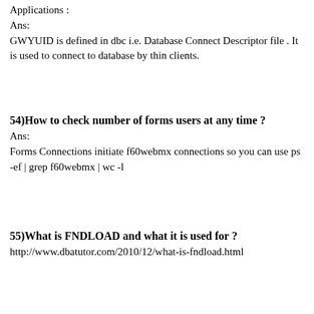Applications :
Ans:
GWYUID is defined in dbc i.e. Database Connect Descriptor file . It is used to connect to database by thin clients.
54)How to check number of forms users at any time ?
Ans:
Forms Connections initiate f60webmx connections so you can use ps -ef | grep f60webmx | wc -l
55)What is FNDLOAD and what it is used for ?
http://www.dbatutor.com/2010/12/what-is-fndload.html
56)How to check which application server is running ?